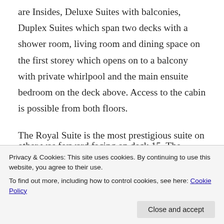are Insides, Deluxe Suites with balconies, Duplex Suites which span two decks with a shower room, living room and dining space on the first storey which opens on to a balcony with private whirlpool and the main ensuite bedroom on the deck above. Access to the cabin is possible from both floors.
The Royal Suite is the most prestigious suite on MSC Virtuosa, featuring a living and dining room area, a large balcony with dining table and whirlpool and another smaller balcony off the ensuite bedroom.
other was forward facing on deck 15. The forward
Privacy & Cookies: This site uses cookies. By continuing to use this website, you agree to their use.
To find out more, including how to control cookies, see here: Cookie Policy